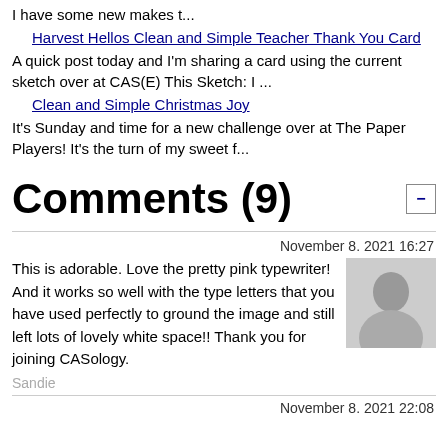I have some new makes t...
Harvest Hellos Clean and Simple Teacher Thank You Card
A quick post today and I'm sharing a card using the current sketch over at CAS(E) This Sketch: I ...
Clean and Simple Christmas Joy
It's Sunday and time for a new challenge over at The Paper Players! It's the turn of my sweet f...
Comments (9)
November 8. 2021 16:27
This is adorable. Love the pretty pink typewriter! And it works so well with the type letters that you have used perfectly to ground the image and still left lots of lovely white space!! Thank you for joining CASology.
[Figure (photo): Default user avatar placeholder - grey silhouette of a person on light grey background]
Sandie
November 8. 2021 22:08